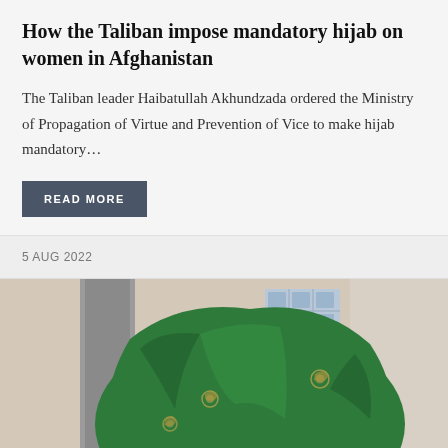How the Taliban impose mandatory hijab on women in Afghanistan
The Taliban leader Haibatullah Akhundzada ordered the Ministry of Propagation of Virtue and Prevention of Vice to make hijab mandatory…
READ MORE
5 AUG 2022
[Figure (photo): A woman wearing a green embroidered hijab, photographed from behind against a tiled wall background with blue decorative tiles.]